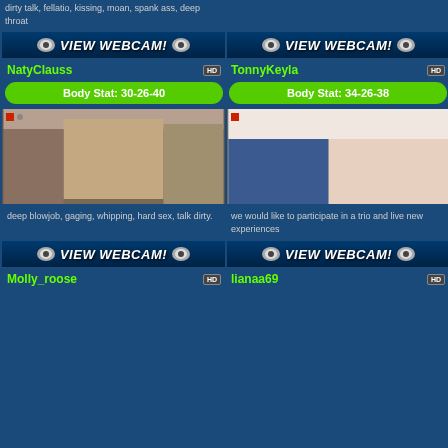dirty talk, fellatio, kissing, moan, spank ass, deep throat
[Figure (other): VIEW WEBCAM button left]
[Figure (other): VIEW WEBCAM button right]
NatyClauss HD
TonnyKeyla HD
Body Stat: 30-26-40
Body Stat: 34-26-38
[Figure (photo): Two women posing in lingerie in a room with flowers]
[Figure (photo): Couple sitting on bed, man in blue shirt, woman in black]
deep blowjob, gaging, whipping, hard sex, talk dirty.
we would like to participate in a trio and live new experiences
[Figure (other): VIEW WEBCAM button left bottom]
[Figure (other): VIEW WEBCAM button right bottom]
Molly_roose HD
lianaa69 HD